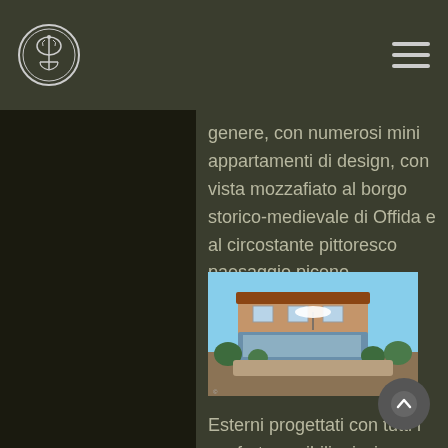genere, con numerosi mini appartamenti di design, con vista mozzafiato al borgo storico-medievale di Offida e al circostante pittoresco paesaggio piceno.
[Figure (photo): Architectural rendering of a modern multi-story building with a terrace, umbrella, and landscaping on a hillside]
Esterni progettati con tutti i confort possibili: piscina semi coperta fruibile anche